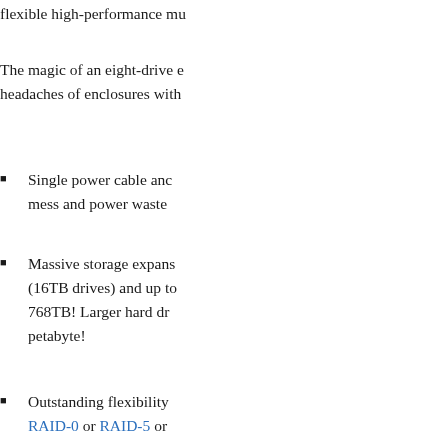flexible high-performance mu...
The magic of an eight-drive e... headaches of enclosures with...
Single power cable anc... mess and power waste
Massive storage expans... (16TB drives) and up t... 768TB! Larger hard dr... petabyte!
Outstanding flexibility... RAID-0 or RAID-5 or...
General features
Thunderbolt certified for M...
Plug-and-play ready: no d...
See your work: DisplayPo...
Daisy-chain expansion: se...
Works with 3.5" or 2.5" dri...
Quick drive swaps: thum...